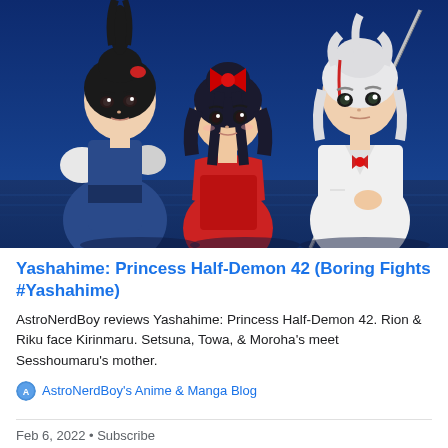[Figure (illustration): Anime illustration from Yashahime: Princess Half-Demon showing three characters against a dark blue background. Left character has black hair with red accessory wearing blue outfit with white fur trim. Center character is shorter with dark hair and red bow wearing red outfit. Right character has white hair wearing white school uniform and holding a sword.]
Yashahime: Princess Half-Demon 42 (Boring Fights #Yashahime)
AstroNerdBoy reviews Yashahime: Princess Half-Demon 42. Rion & Riku face Kirinmaru. Setsuna, Towa, & Moroha's meet Sesshoumaru's mother.
AstroNerdBoy's Anime & Manga Blog
Feb 6, 2022 • Subscribe